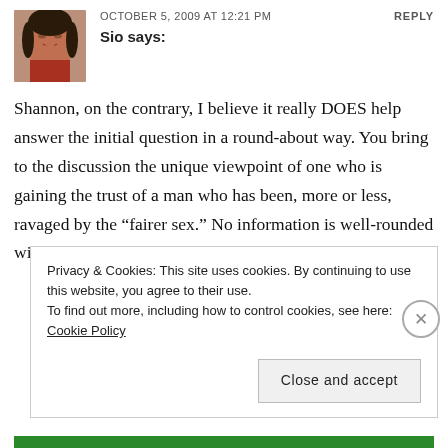OCTOBER 5, 2009 AT 12:21 PM   REPLY
Sio says:
Shannon, on the contrary, I believe it really DOES help answer the initial question in a round-about way. You bring to the discussion the unique viewpoint of one who is gaining the trust of a man who has been, more or less, ravaged by the “fairer sex.” No information is well-rounded without input from many different viewpoints.
Privacy & Cookies: This site uses cookies. By continuing to use this website, you agree to their use.
To find out more, including how to control cookies, see here: Cookie Policy
Close and accept